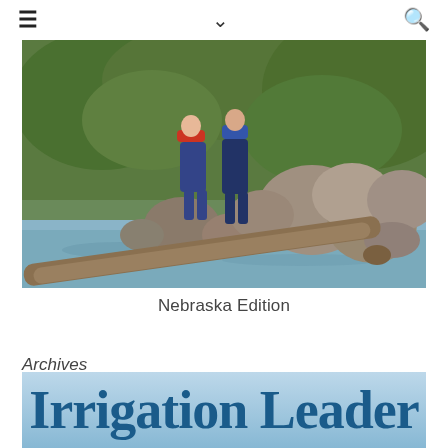≡  ∨  🔍
[Figure (photo): People standing on large rocks at the edge of a stream or creek, with driftwood log in the foreground and green vegetation in the background.]
Nebraska Edition
Archives
Select Month
[Figure (logo): Irrigation Leader publication logo with large bold serif text on a light blue gradient background.]